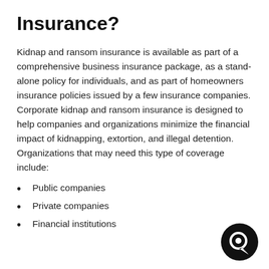Insurance?
Kidnap and ransom insurance is available as part of a comprehensive business insurance package, as a stand-alone policy for individuals, and as part of homeowners insurance policies issued by a few insurance companies. Corporate kidnap and ransom insurance is designed to help companies and organizations minimize the financial impact of kidnapping, extortion, and illegal detention. Organizations that may need this type of coverage include:
Public companies
Private companies
Financial institutions
[Figure (logo): Black circular logo with a white Q/chat-bubble icon]